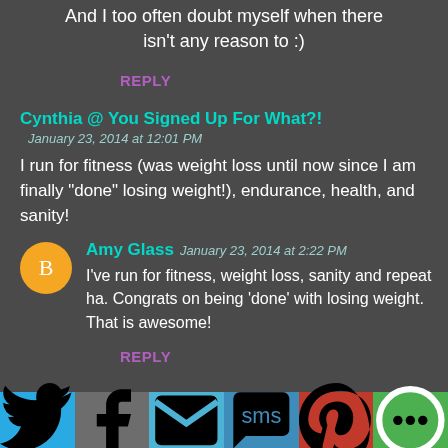And I too often doubt myself when there isn't any reason to :)
REPLY
Cynthia @ You Signed Up For What?!
January 23, 2014 at 12:01 PM
I run for fitness (was weight loss until now since I am finally "done" losing weight!), endurance, health, and sanity!
Amy Glass
January 23, 2014 at 2:22 PM
I've run for fitness, weight loss, sanity and repeat ha. Congrats on being 'done' with losing weight. That is awesome!
REPLY
[Figure (infographic): Social share bar at bottom with icons: Twitter (blue), Facebook (gray), Email (blue-gray), SMS (blue), Pinterest (red), More (green)]